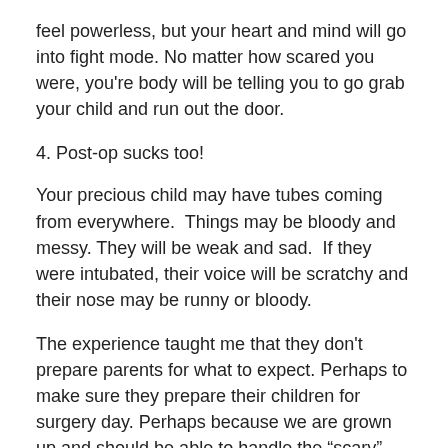feel powerless, but your heart and mind will go into fight mode. No matter how scared you were, you're body will be telling you to go grab your child and run out the door.
4. Post-op sucks too!
Your precious child may have tubes coming from everywhere.  Things may be bloody and messy. They will be weak and sad.  If they were intubated, their voice will be scratchy and their nose may be runny or bloody.
The experience taught me that they don't prepare parents for what to expect. Perhaps to make sure they prepare their children for surgery day. Perhaps because we are grown up and should be able to handle the “scary”.  We can't help but worry, it's what parents do best.
I suppose the best advice I could give a parent facing a